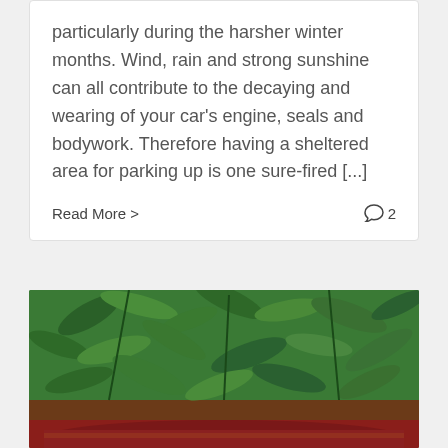particularly during the harsher winter months. Wind, rain and strong sunshine can all contribute to the decaying and wearing of your car's engine, seals and bodywork. Therefore having a sheltered area for parking up is one sure-fired [...]
Read More >
2
[Figure (photo): Close-up photo of green leafy plants with a dark red/maroon curved object (possibly a car roof or pot) visible at the bottom edge.]